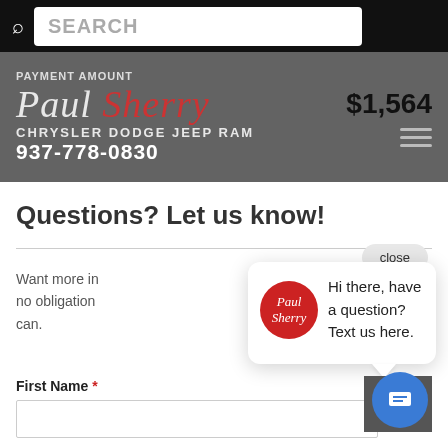SEARCH
[Figure (logo): Paul Sherry Chrysler Dodge Jeep RAM dealership logo with phone number 937-778-0830 on gray banner. Payment amount $1,564 shown top right.]
Questions? Let us know!
Want more in no obligation can.
[Figure (screenshot): Chat popup bubble with Paul Sherry red circle logo and text: Hi there, have a question? Text us here. With a close button above and blue chat button below right.]
First Name *
(input field)